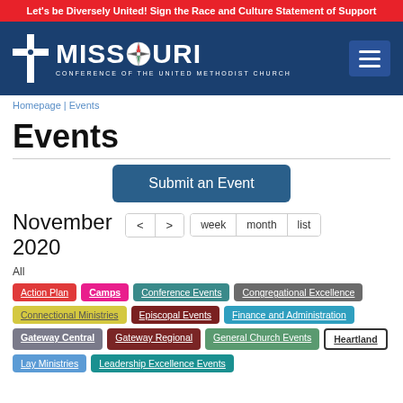Let's be Diversely United! Sign the Race and Culture Statement of Support
[Figure (logo): Missouri Conference of the United Methodist Church logo with cross symbol and compass rose]
Homepage | Events
Events
Submit an Event
November 2020
All
Action Plan
Camps
Conference Events
Congregational Excellence
Connectional Ministries
Episcopal Events
Finance and Administration
Gateway Central
Gateway Regional
General Church Events
Heartland
Lay Ministries
Leadership Excellence Events